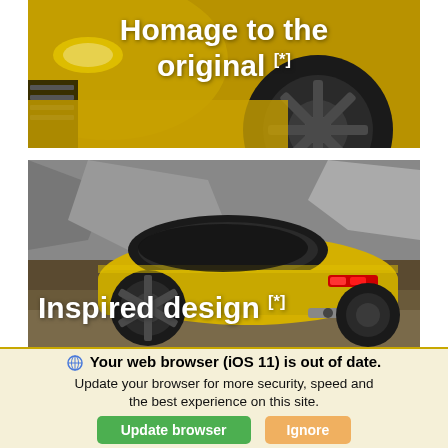[Figure (photo): Close-up photo of a yellow sports car front end with headlight and wheel visible, text overlay reads 'Homage to the original [*]']
[Figure (photo): Rear three-quarter view of a yellow Nissan Z sports car on a rocky terrain background, text overlay reads 'Inspired design [*]']
🌐 Your web browser (iOS 11) is out of date. Update your browser for more security, speed and the best experience on this site.